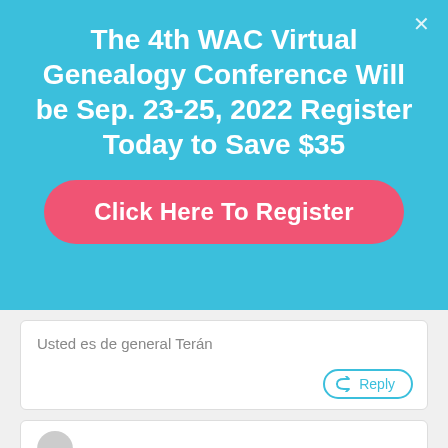The 4th WAC Virtual Genealogy Conference Will be Sep. 23-25, 2022 Register Today to Save $35
[Figure (other): Pink rounded button with text 'Click Here To Register']
Usted es de general Terán
[Figure (other): Reply button with arrow icon and 'Reply' text in teal border]